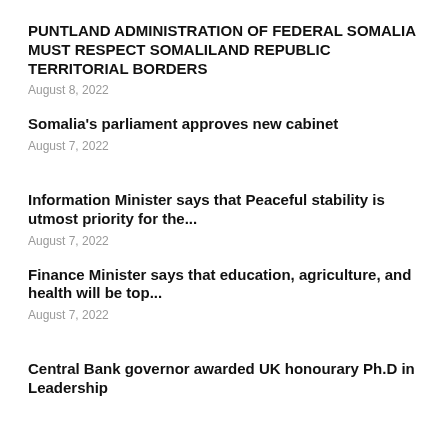PUNTLAND ADMINISTRATION OF FEDERAL SOMALIA MUST RESPECT SOMALILAND REPUBLIC TERRITORIAL BORDERS
August 8, 2022
Somalia's parliament approves new cabinet
August 7, 2022
Information Minister says that Peaceful stability is utmost priority for the...
August 7, 2022
Finance Minister says that education, agriculture, and health will be top...
August 7, 2022
Central Bank governor awarded UK honourary Ph.D in Leadership